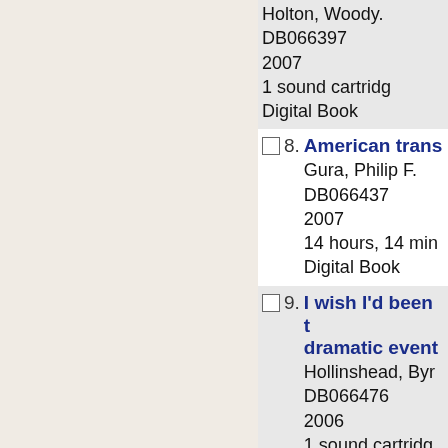DB066397
2007
1 sound cartridge
Digital Book
8. American trans...
Gura, Philip F.
DB066437
2007
14 hours, 14 min
Digital Book
9. I wish I'd been t... dramatic event...
Hollinshead, Byr...
DB066476
2006
1 sound cartridge
Digital Book
10. Sandhills boy t...
Kelton, Elmer...